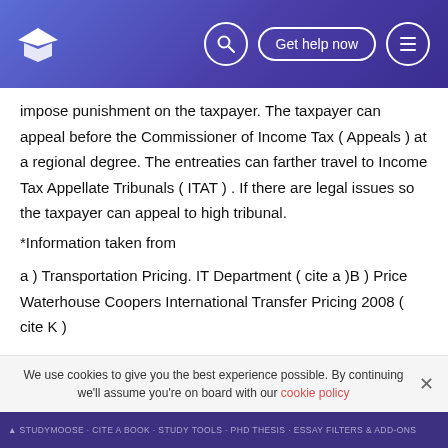🎓 [search icon] Get help now [menu icon]
impose punishment on the taxpayer. The taxpayer can appeal before the Commissioner of Income Tax ( Appeals ) at a regional degree. The entreaties can farther travel to Income Tax Appellate Tribunals ( ITAT ) . If there are legal issues so the taxpayer can appeal to high tribunal.
*Information taken from
a ) Transportation Pricing. IT Department ( cite a )B ) Price Waterhouse Coopers International Transfer Pricing 2008 ( cite K )
3 Transfer pricing instances in IndiaThe execution of
We use cookies to give you the best experience possible. By continuing we'll assume you're on board with our cookie policy